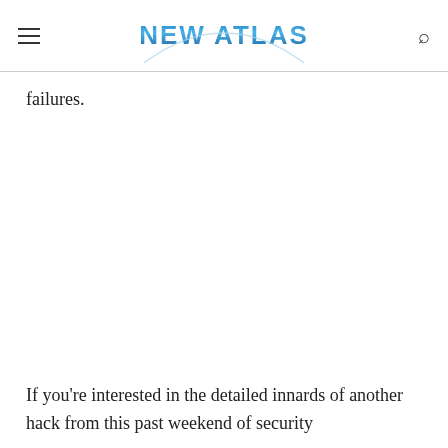NEW ATLAS
failures.
If you're interested in the detailed innards of another hack from this past weekend of security